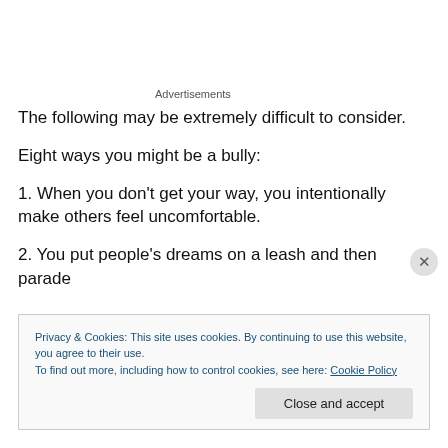Advertisements
The following may be extremely difficult to consider.
Eight ways you might be a bully:
1. When you don't get your way, you intentionally make others feel uncomfortable.
2. You put people's dreams on a leash and then parade
Privacy & Cookies: This site uses cookies. By continuing to use this website, you agree to their use.
To find out more, including how to control cookies, see here: Cookie Policy